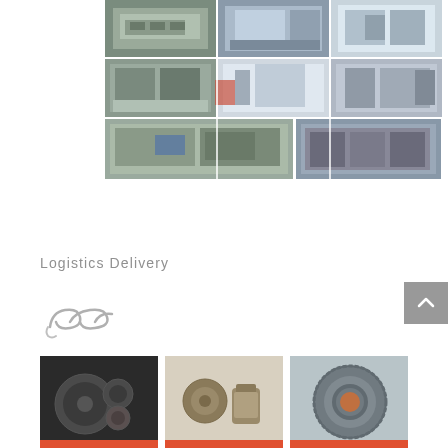[Figure (photo): 3x3 grid of factory/manufacturing facility photos showing CNC machines, industrial equipment, workers operating machinery, automated production lines, and quality inspection processes]
Logistics Delivery
[Figure (illustration): Chain link or hook illustration in light gray sketch style representing logistics/delivery]
[Figure (photo): Three product photos showing gear components: a set of planetary gears on dark background, small brass/bronze gear pair, and a splined gear ring/coupling]